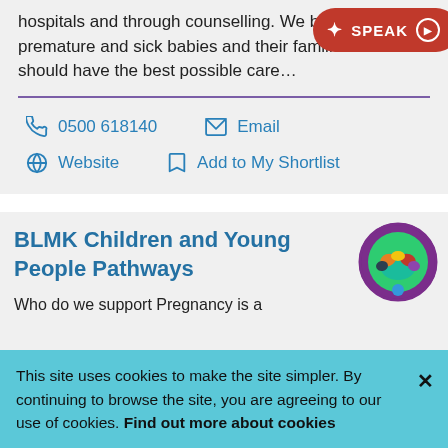hospitals and through counselling. We believe premature and sick babies and their families should have the best possible care…
0500 618140
Email
Website
Add to My Shortlist
BLMK Children and Young People Pathways
Who do we support Pregnancy is a
This site uses cookies to make the site simpler. By continuing to browse the site, you are agreeing to our use of cookies. Find out more about cookies